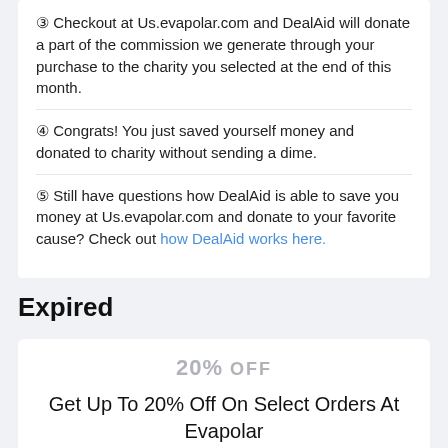③ Checkout at Us.evapolar.com and DealAid will donate a part of the commission we generate through your purchase to the charity you selected at the end of this month.
④ Congrats! You just saved yourself money and donated to charity without sending a dime.
⑤ Still have questions how DealAid is able to save you money at Us.evapolar.com and donate to your favorite cause? Check out how DealAid works here.
Expired
20% OFF
Get Up To 20% Off On Select Orders At Evapolar